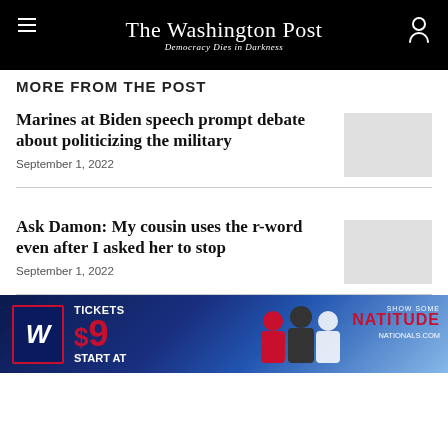The Washington Post — Democracy Dies in Darkness
MORE FROM THE POST
Marines at Biden speech prompt debate about politicizing the military
September 1, 2022
Ask Damon: My cousin uses the r-word even after I asked her to stop
September 1, 2022
[Figure (photo): Washington Nationals advertisement: Tickets Start at $9, Show Some Natitude, nationals.com]